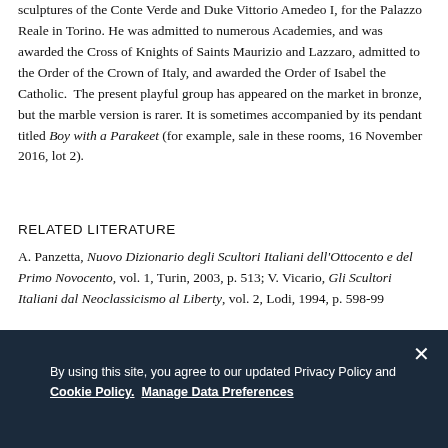sculptures of the Conte Verde and Duke Vittorio Amedeo I, for the Palazzo Reale in Torino. He was admitted to numerous Academies, and was awarded the Cross of Knights of Saints Maurizio and Lazzaro, admitted to the Order of the Crown of Italy, and awarded the Order of Isabel the Catholic. The present playful group has appeared on the market in bronze, but the marble version is rarer. It is sometimes accompanied by its pendant titled Boy with a Parakeet (for example, sale in these rooms, 16 November 2016, lot 2).
RELATED LITERATURE
A. Panzetta, Nuovo Dizionario degli Scultori Italiani dell'Ottocento e del Primo Novocento, vol. 1, Turin, 2003, p. 513; V. Vicario, Gli Scultori Italiani dal Neoclassicismo al Liberty, vol. 2, Lodi, 1994, p. 598-99
By using this site, you agree to our updated Privacy Policy and Cookie Policy. Manage Data Preferences